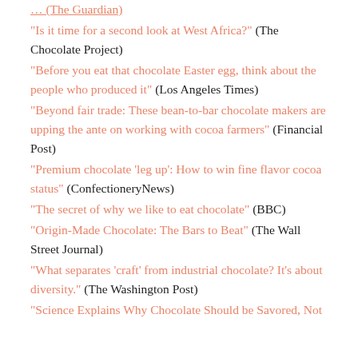… (The Guardian)
"Is it time for a second look at West Africa?" (The Chocolate Project)
"Before you eat that chocolate Easter egg, think about the people who produced it" (Los Angeles Times)
"Beyond fair trade: These bean-to-bar chocolate makers are upping the ante on working with cocoa farmers" (Financial Post)
"Premium chocolate 'leg up': How to win fine flavor cocoa status" (ConfectioneryNews)
"The secret of why we like to eat chocolate" (BBC)
"Origin-Made Chocolate: The Bars to Beat" (The Wall Street Journal)
"What separates 'craft' from industrial chocolate? It's about diversity." (The Washington Post)
"Science Explains Why Chocolate Should be Savored, Not